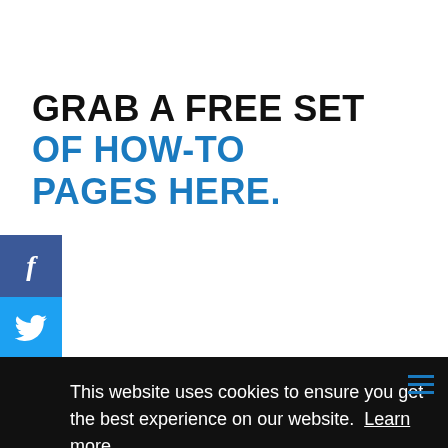GRAB A FREE SET OF HOW-TO PAGES HERE.
[Figure (other): Facebook social share button — dark blue square with white italic 'f' icon]
[Figure (other): Twitter social share button — light blue square with white bird icon]
This website uses cookies to ensure you get the best experience on our website.  Learn more
Got it!